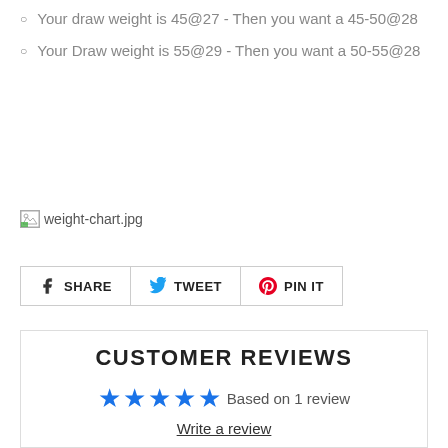Your draw weight is 45@27 - Then you want a 45-50@28
Your Draw weight is 55@29 - Then you want a 50-55@28
[Figure (other): Broken image placeholder for weight-chart.jpg]
SHARE  TWEET  PIN IT
CUSTOMER REVIEWS
Based on 1 review
Write a review